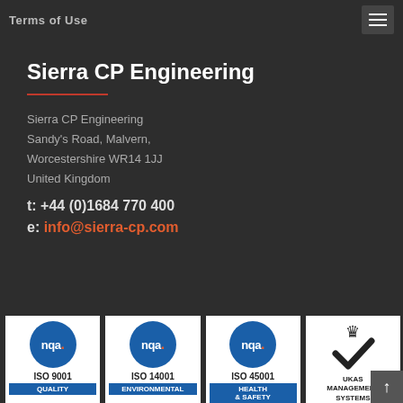Terms of Use
Sierra CP Engineering
Sierra CP Engineering
Sandy's Road, Malvern,
Worcestershire WR14 1JJ
United Kingdom
t: +44 (0)1684 770 400
e: info@sierra-cp.com
[Figure (logo): NQA ISO 9001 Quality certification logo with blue circle and orange dot]
[Figure (logo): NQA ISO 14001 Environmental certification logo with blue circle and orange dot]
[Figure (logo): NQA ISO 45001 Health & Safety certification logo with blue circle and orange dot]
[Figure (logo): UKAS Management Systems certification logo with crown and checkmark]